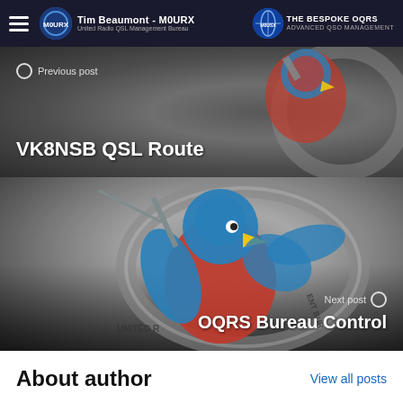Tim Beaumont - M0URX | United Radio QSL Management Bureau | THE BESPOKE OQRS
[Figure (screenshot): Previous post navigation block with background image of OQRS mascot (blue bird with antenna), label 'Previous post' and title 'VK8NSB QSL Route' in white text]
[Figure (screenshot): Next post navigation block with large OQRS mascot logo (blue bird holding antenna in circular badge), label 'Next post' and title 'OQRS Bureau Control' in white text]
About author
View all posts